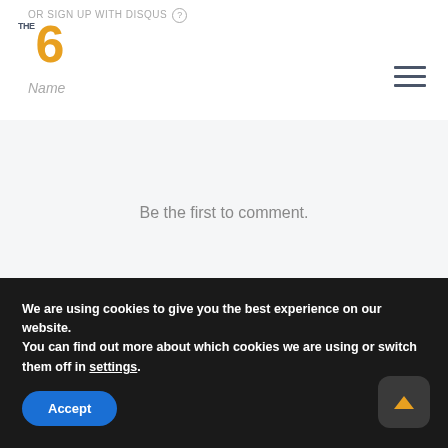[Figure (logo): The6 logo with orange numeral 6 and grey 'THE' stacked text, with 'Name' italic text below]
OR SIGN UP WITH DISQUS ?
[Figure (other): Hamburger menu icon (three horizontal lines)]
Be the first to comment.
Subscribe   Add Disqus   Do Not Sell My Data   DISQUS
We are using cookies to give you the best experience on our website.
You can find out more about which cookies we are using or switch them off in settings.
Accept